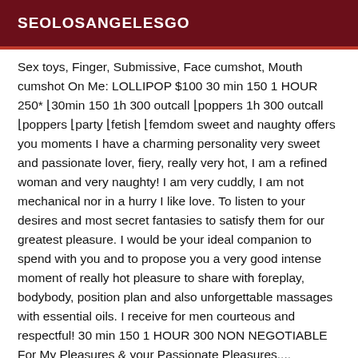SEOLOSANGELESGO
Sex toys, Finger, Submissive, Face cumshot, Mouth cumshot On Me: LOLLIPOP $100 30 min 150 1 HOUR 250* ⌋30min 150 1h 300 outcall ⌋poppers 1h 300 outcall ⌋poppers ⌋party ⌋fetish ⌋femdom sweet and naughty offers you moments I have a charming personality very sweet and passionate lover, fiery, really very hot, I am a refined woman and very naughty! I am very cuddly, I am not mechanical nor in a hurry I like love. To listen to your desires and most secret fantasies to satisfy them for our greatest pleasure. I would be your ideal companion to spend with you and to propose you a very good intense moment of really hot pleasure to share with foreplay, bodybody, position plan and also unforgettable massages with essential oils. I receive for men courteous and respectful! 30 min 150 1 HOUR 300 NON NEGOTIABLE For My Pleasures & your Passionate Pleasures.... Charming Sexy Girl If you are looking for a really tender, naughty and warm moment of intimate